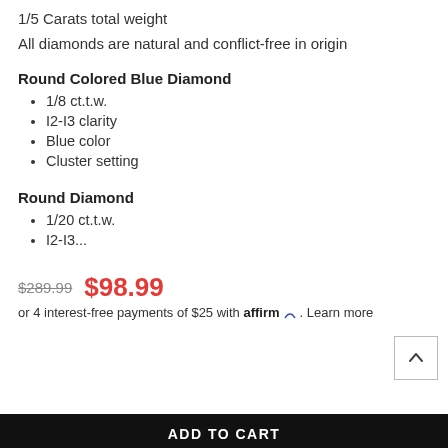1/5 Carats total weight
All diamonds are natural and conflict-free in origin
Round Colored Blue Diamond
1/8 ct.t.w.
I2-I3 clarity
Blue color
Cluster setting
Round Diamond
1/20 ct.t.w.
I2-I3...
$289.99  $98.99
or 4 interest-free payments of $25 with affirm. Learn more
ADD TO CART